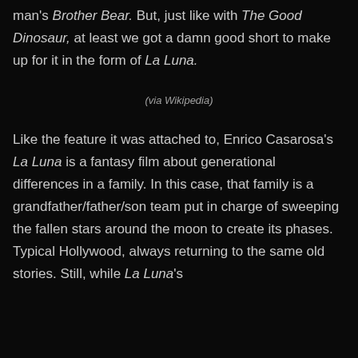man's Brother Bear. But, just like with The Good Dinosaur, at least we got a damn good short to make up for it in the form of La Luna.
(via Wikipedia)
Like the feature it was attached to, Enrico Casarosa's La Luna is a fantasy film about generational differences in a family. In this case, that family is a grandfather/father/son team put in charge of sweeping the fallen stars around the moon to create its phases. Typical Hollywood, always returning to the same old stories. Still, while La Luna's